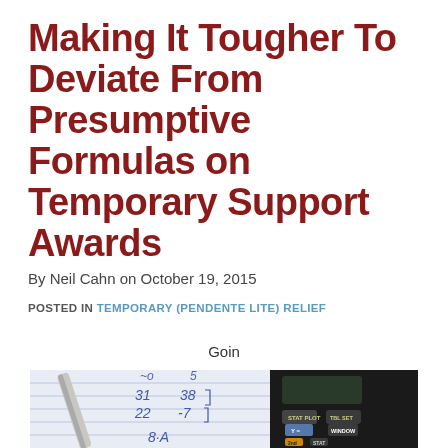Making It Tougher To Deviate From Presumptive Formulas on Temporary Support Awards
By Neil Cahn on October 19, 2015
POSTED IN TEMPORARY (PENDENTE LITE) RELIEF
Goin
[Figure (photo): Close-up photograph of handwritten math calculations on lined paper next to a graphing calculator (TI model), showing numbers 31, 38, 22, -7, and 8·A written in blue ink]